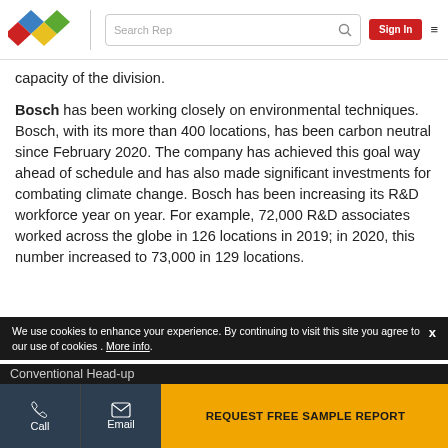Search Rep | Sign In
capacity of the division.
Bosch has been working closely on environmental techniques. Bosch, with its more than 400 locations, has been carbon neutral since February 2020. The company has achieved this goal way ahead of schedule and has also made significant investments for combating climate change. Bosch has been increasing its R&D workforce year on year. For example, 72,000 R&D associates worked across the globe in 126 locations in 2019; in 2020, this number increased to 73,000 in 129 locations.
Related Reports:
We use cookies to enhance your experience. By continuing to visit this site you agree to our use of cookies . More info.
Conventional Head-up
REQUEST FREE SAMPLE REPORT